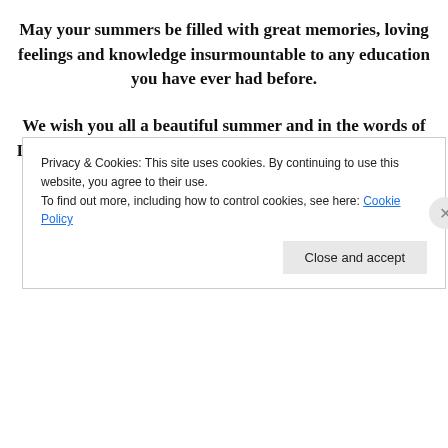May your summers be filled with great memories, loving feelings and knowledge insurmountable to any education you have ever had before.
We wish you all a beautiful summer and in the words of Impact Dance Productions “lets make an impact one step at a time”.
[Figure (other): WordPress advertisement banner: 'Professionally designed sites in less than a week' with WordPress logo]
REPORT THIS AD
Privacy & Cookies: This site uses cookies. By continuing to use this website, you agree to their use.
To find out more, including how to control cookies, see here: Cookie Policy